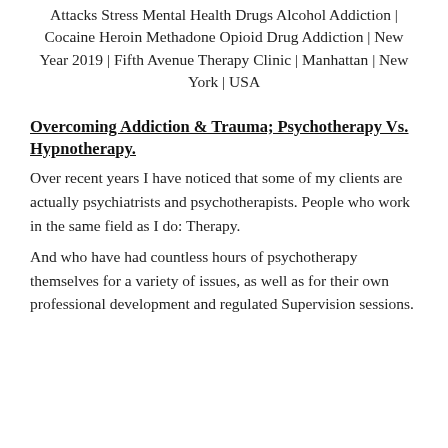Attacks Stress Mental Health Drugs Alcohol Addiction | Cocaine Heroin Methadone Opioid Drug Addiction | New Year 2019 | Fifth Avenue Therapy Clinic | Manhattan | New York | USA
Overcoming Addiction & Trauma; Psychotherapy Vs. Hypnotherapy.
Over recent years I have noticed that some of my clients are actually psychiatrists and psychotherapists. People who work in the same field as I do: Therapy.
And who have had countless hours of psychotherapy themselves for a variety of issues, as well as for their own professional development and regulated Supervision sessions.